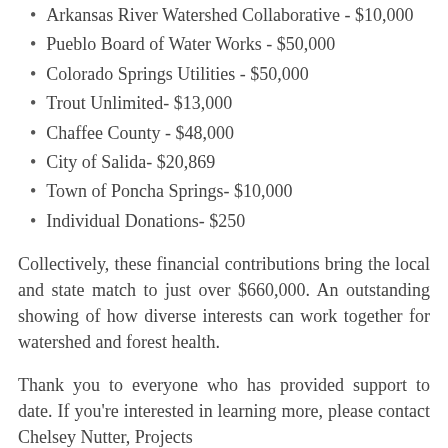Arkansas River Watershed Collaborative - $10,000
Pueblo Board of Water Works - $50,000
Colorado Springs Utilities - $50,000
Trout Unlimited- $13,000
Chaffee County - $48,000
City of Salida- $20,869
Town of Poncha Springs- $10,000
Individual Donations- $250
Collectively, these financial contributions bring the local and state match to just over $660,000. An outstanding showing of how diverse interests can work together for watershed and forest health.
Thank you to everyone who has provided support to date. If you're interested in learning more, please contact Chelsey Nutter, Projects